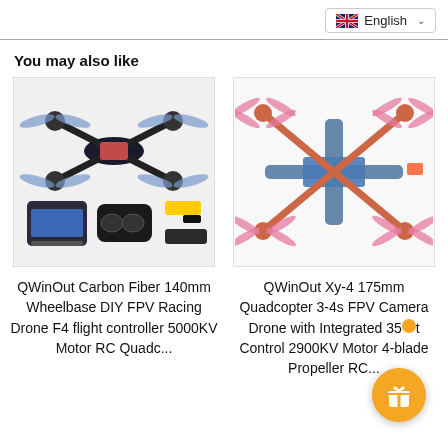English
You may also like
[Figure (photo): QWinOut Carbon Fiber 140mm wheelbase FPV racing drone with controller, FPV goggles, battery and accessories]
[Figure (photo): QWinOut Xy-4 175mm Quadcopter 3-4s FPV racing drone frame with pink propellers on white background]
QWinOut Carbon Fiber 140mm Wheelbase DIY FPV Racing Drone F4 flight controller 5000KV Motor RC Quadc...
QWinOut Xy-4 175mm Quadcopter 3-4s FPV Camera Drone with Integrated 35A ESC Control 2900KV Motor 4-blade Propeller RC...